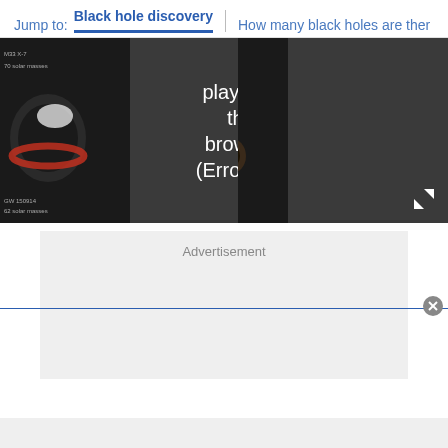Jump to:  Black hole discovery  |  How many black holes are ther
[Figure (screenshot): Video player showing error message 'played in this browser. (Error Cod' overlaid on black hole imagery. Expand icon at bottom right.]
Advertisement
[Figure (screenshot): Advertisement placeholder box (gray background)]
[Figure (other): Close button (X) at bottom right of a notification bar]